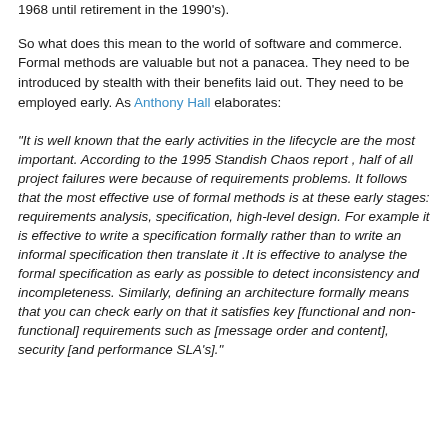1968 until retirement in the 1990's).
So what does this mean to the world of software and commerce. Formal methods are valuable but not a panacea. They need to be introduced by stealth with their benefits laid out. They need to be employed early. As Anthony Hall elaborates:
"It is well known that the early activities in the lifecycle are the most important. According to the 1995 Standish Chaos report , half of all project failures were because of requirements problems. It follows that the most effective use of formal methods is at these early stages: requirements analysis, specification, high-level design. For example it is effective to write a specification formally rather than to write an informal specification then translate it .It is effective to analyse the formal specification as early as possible to detect inconsistency and incompleteness. Similarly, defining an architecture formally means that you can check early on that it satisfies key [functional and non-functional] requirements such as [message order and content], security [and performance SLA's]."